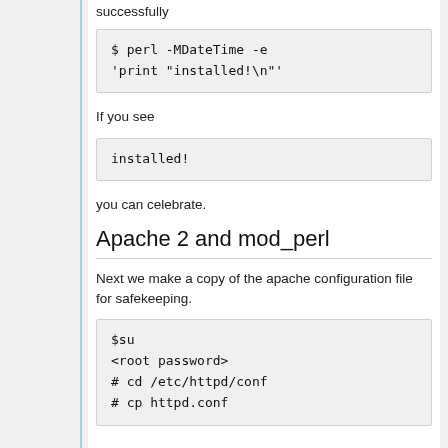successfully
$ perl -MDateTime -e
'print "installed!\n"'
If you see
installed!
you can celebrate.
Apache 2 and mod_perl
Next we make a copy of the apache configuration file for safekeeping.
$su
<root password>
# cd /etc/httpd/conf
# cp httpd.conf